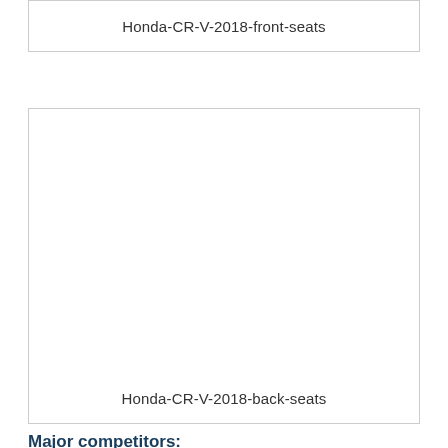[Figure (photo): Image placeholder box with caption 'Honda-CR-V-2018-front-seats' — top bordered rectangle, image area appears blank/white]
[Figure (photo): Image placeholder box with caption 'Honda-CR-V-2018-back-seats' — large bordered rectangle, image area appears blank/white]
Major competitors: